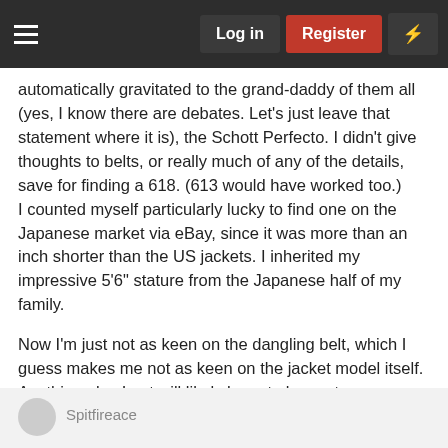Log in | Register
automatically gravitated to the grand-daddy of them all (yes, I know there are debates. Let's just leave that statement where it is), the Schott Perfecto. I didn't give thoughts to belts, or really much of any of the details, save for finding a 618. (613 would have worked too.)
I counted myself particularly lucky to find one on the Japanese market via eBay, since it was more than an inch shorter than the US jackets. I inherited my impressive 5'6" stature from the Japanese half of my family.

Now I'm just not as keen on the dangling belt, which I guess makes me not as keen on the jacket model itself. Anything else I get will likely have to be custom (read:expensive) unless there are more specific Japanese market gems out there waiting for me.
mulceber
Spitfireace